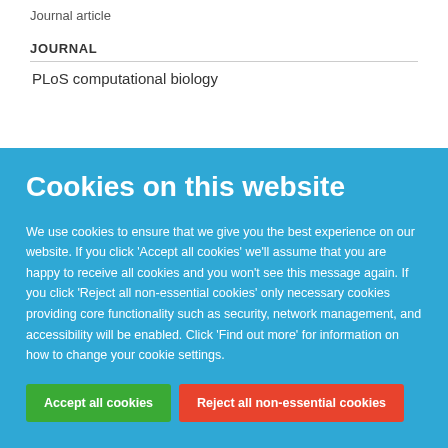Journal article
JOURNAL
PLoS computational biology
Cookies on this website
We use cookies to ensure that we give you the best experience on our website. If you click 'Accept all cookies' we'll assume that you are happy to receive all cookies and you won't see this message again. If you click 'Reject all non-essential cookies' only necessary cookies providing core functionality such as security, network management, and accessibility will be enabled. Click 'Find out more' for information on how to change your cookie settings.
Accept all cookies
Reject all non-essential cookies